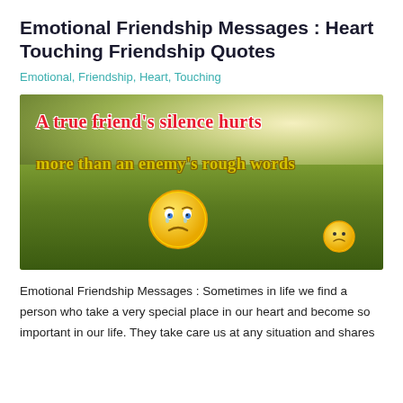Emotional Friendship Messages : Heart Touching Friendship Quotes
Emotional, Friendship, Heart, Touching
[Figure (illustration): An outdoor scene with grass and warm sunlight. Text overlay: 'A true friend's silence hurts more than an enemy's rough words' with a sad yellow emoji face ball lying in the grass and a smaller emoji ball in the background.]
Emotional Friendship Messages : Sometimes in life we find a person who take a very special place in our heart and become so important in our life. They take care us at any situation and shares